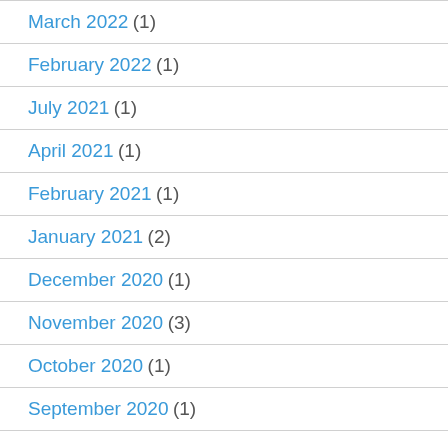March 2022 (1)
February 2022 (1)
July 2021 (1)
April 2021 (1)
February 2021 (1)
January 2021 (2)
December 2020 (1)
November 2020 (3)
October 2020 (1)
September 2020 (1)